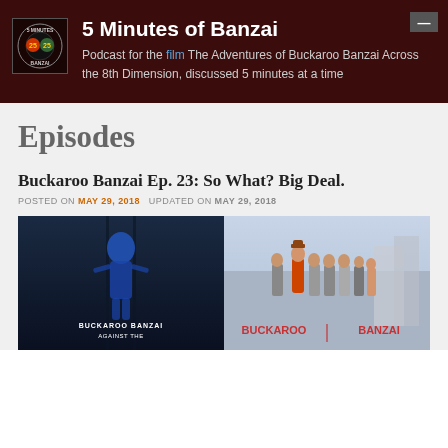5 Minutes of Banzai — Podcast for the film The Adventures of Buckaroo Banzai Across the 8th Dimension, discussed 5 minutes at a time
Episodes
Buckaroo Banzai Ep. 23: So What? Big Deal.
POSTED ON MAY 29, 2018  UPDATED ON MAY 29, 2018
[Figure (photo): Two-panel movie image: left panel shows a dark blue-toned scene with a figure and text 'BUCKAROO BANZAI AGAINST THE...'; right panel shows a group of people standing outdoors with text 'BUCKAROO BANZAI' in red.]